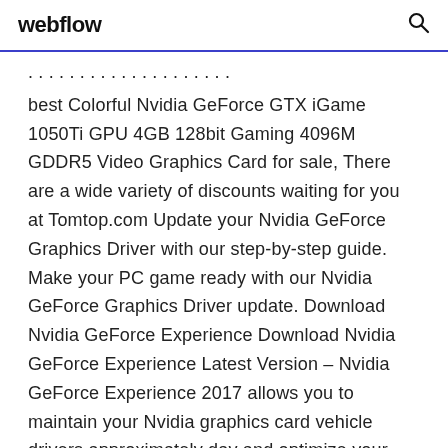webflow
best Colorful Nvidia GeForce GTX iGame 1050Ti GPU 4GB 128bit Gaming 4096M GDDR5 Video Graphics Card for sale, There are a wide variety of discounts waiting for you at Tomtop.com Update your Nvidia GeForce Graphics Driver with our step-by-step guide. Make your PC game ready with our Nvidia GeForce Graphics Driver update. Download Nvidia GeForce Experience Download Nvidia GeForce Experience Latest Version – Nvidia GeForce Experience 2017 allows you to maintain your Nvidia graphics card vehicle drivers approximately day and optimize your video games. Moonlight Documentation.